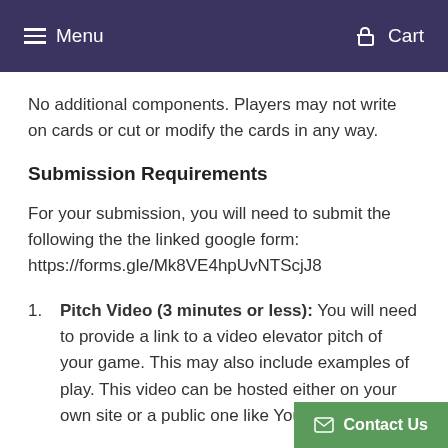Menu  Cart
No additional components. Players may not write on cards or cut or modify the cards in any way.
Submission Requirements
For your submission, you will need to submit the following the the linked google form: https://forms.gle/Mk8VE4hpUvNTScjJ8
Pitch Video (3 minutes or less): You will need to provide a link to a video elevator pitch of your game. This may also include examples of play. This video can be hosted either on your own site or a public one like YouTube or Vimeo.
Rules: You will need to provide a link to a complete rules document that is sufficient for a reader to learn to play the game. The rules can be hosted on either your own site or a public one like Dropbox or Goo